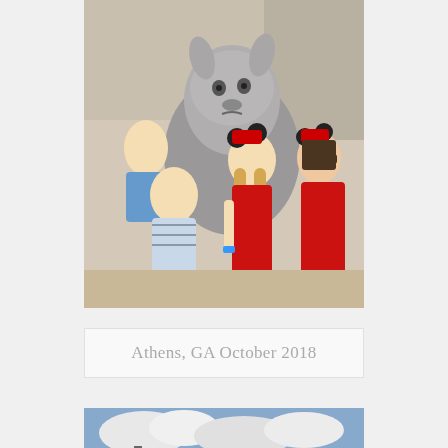[Figure (photo): Three children posing with Eeyore Disney character. Two girls wearing red dresses and Minnie Mouse ears, one boy in a blue striped shirt hugging Eeyore. Indoor Disney park setting.]
Athens, GA October 2018
[Figure (photo): Partial view of a second photo showing a cloudy sky and what appears to be a stadium or outdoor venue with red elements at the bottom.]